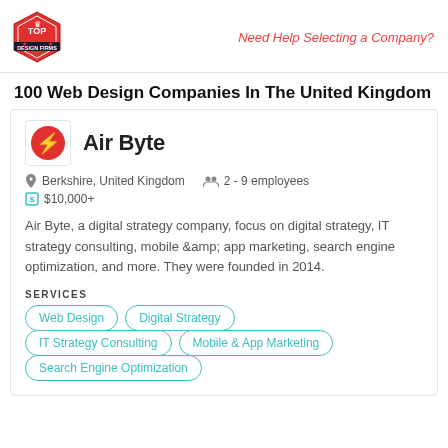Need Help Selecting a Company?
100 Web Design Companies In The United Kingdom
[Figure (logo): Air Byte company logo — red circle with white letter G]
Air Byte
Berkshire, United Kingdom   2 - 9 employees
$10,000+
Air Byte, a digital strategy company, focus on digital strategy, IT strategy consulting, mobile &amp; app marketing, search engine optimization, and more. They were founded in 2014.
SERVICES
Web Design
Digital Strategy
IT Strategy Consulting
Mobile & App Marketing
Search Engine Optimization